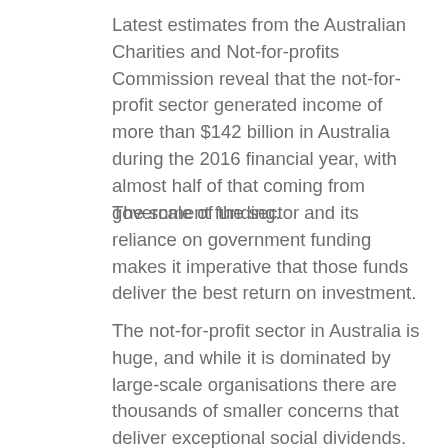Latest estimates from the Australian Charities and Not-for-profits Commission reveal that the not-for-profit sector generated income of more than $142 billion in Australia during the 2016 financial year, with almost half of that coming from government funding.
The scale of the sector and its reliance on government funding makes it imperative that those funds deliver the best return on investment.
The not-for-profit sector in Australia is huge, and while it is dominated by large-scale organisations there are thousands of smaller concerns that deliver exceptional social dividends.
We've also found that some of the smaller-scale organisations are the ones most in need of help.
That can be anything from the essential skills of a chief financial officer to create and implement an effective